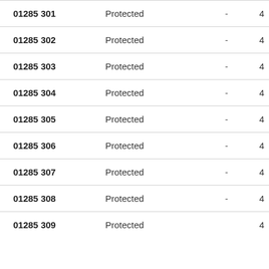| Number | Status |  |  |
| --- | --- | --- | --- |
| 01285 301 | Protected | - | 4 |
| 01285 302 | Protected | - | 4 |
| 01285 303 | Protected | - | 4 |
| 01285 304 | Protected | - | 4 |
| 01285 305 | Protected | - | 4 |
| 01285 306 | Protected | - | 4 |
| 01285 307 | Protected | - | 4 |
| 01285 308 | Protected | - | 4 |
| 01285 309 | Protected | - | 4 |